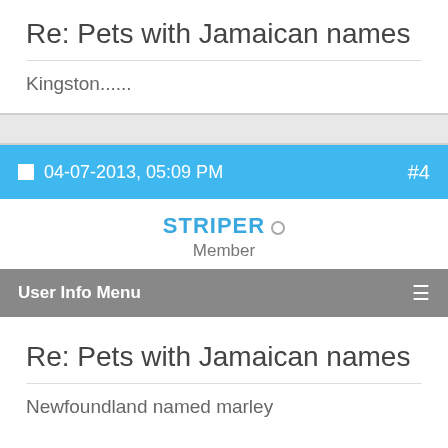Re: Pets with Jamaican names
Kingston......
04-07-2013, 05:09 PM  #4
STRIPER ○
Member
User Info Menu
Re: Pets with Jamaican names
Newfoundland named marley